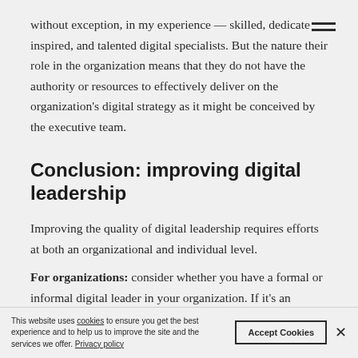without exception, in my experience — skilled, dedicate inspired, and talented digital specialists. But the nature their role in the organization means that they do not have the authority or resources to effectively deliver on the organization's digital strategy as it might be conceived by the executive team.
Conclusion: improving digital leadership
Improving the quality of digital leadership requires efforts at both an organizational and individual level.
For organizations: consider whether you have a formal or informal digital leader in your organization. If it's an informal
This website uses cookies to ensure you get the best experience and to help us to improve the site and the services we offer. Privacy policy